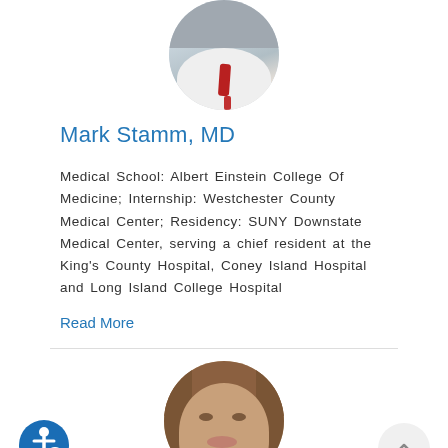[Figure (photo): Partial circular portrait photo of Mark Stamm, MD, showing white coat and red tie, cropped at top of page]
Mark Stamm, MD
Medical School: Albert Einstein College Of Medicine; Internship: Westchester County Medical Center; Residency: SUNY Downstate Medical Center, serving a chief resident at the King's County Hospital, Coney Island Hospital and Long Island College Hospital
Read More
[Figure (photo): Partial circular portrait photo of a woman with long brown hair, cropped at the bottom of the page]